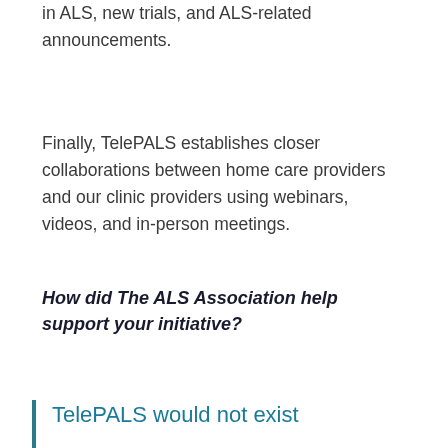in ALS, new trials, and ALS-related announcements.
Finally, TelePALS establishes closer collaborations between home care providers and our clinic providers using webinars, videos, and in-person meetings.
How did The ALS Association help support your initiative?
TelePALS would not exist